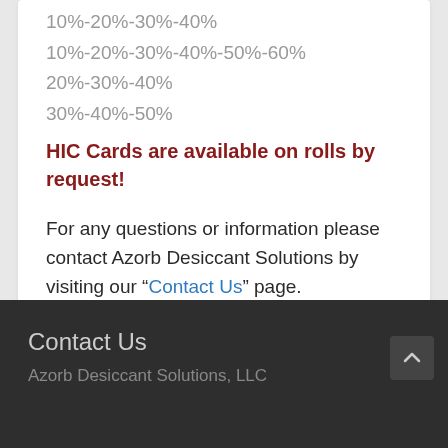10%-20%-30%-40%
10%-20%-30%-40%-50%-60%
20%-30%-40%
30%-40%-50%
HIC Cards are available on rolls by request!
For any questions or information please contact Azorb Desiccant Solutions by visiting our “Contact Us” page.
Contact Us
Azorb Desiccant Solutions, LLC